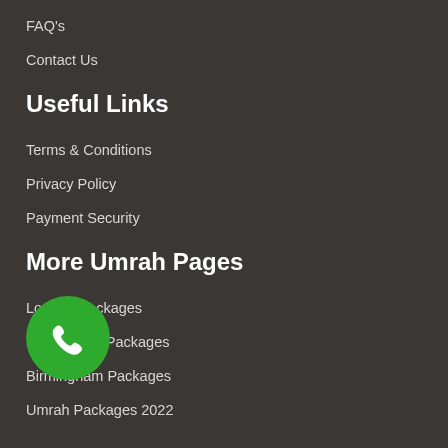FAQ's
Contact Us
Useful Links
Terms & Conditions
Privacy Policy
Payment Security
More Umrah Pages
London Packages
Manchester Packages
Birmingham Packages
Umrah Packages 2022
[Figure (illustration): Green circular phone/call button icon overlapping the Birmingham Packages list item]